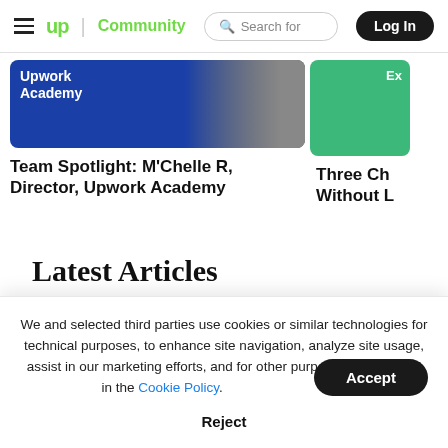≡ up | Community   🔍 Search for   Log In
[Figure (screenshot): Upwork Academy banner image with a person in a dark jacket, partially visible]
Team Spotlight: M'Chelle R, Director, Upwork Academy
[Figure (screenshot): Green card image partially visible on right side with text 'Ex']
Three Ch Without L
Latest Articles
We and selected third parties use cookies or similar technologies for technical purposes, to enhance site navigation, analyze site usage, assist in our marketing efforts, and for other purposes as specified in the Cookie Policy.
Accept
Reject